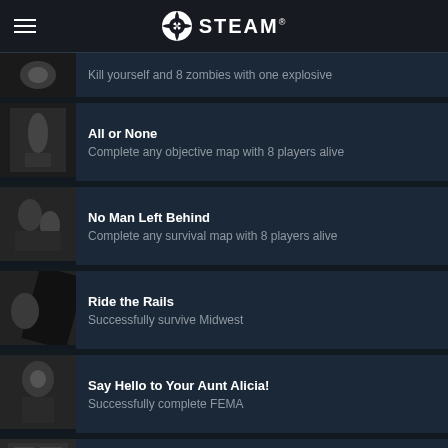STEAM
Kill yourself and 8 zombies with one explosive
All or None
Complete any objective map with 8 players alive
No Man Left Behind
Complete any survival map with 8 players alive
Ride the Rails
Successfully survive Midwest
Say Hello to Your Aunt Alicia!
Successfully complete FEMA
Honorary Warringtonian